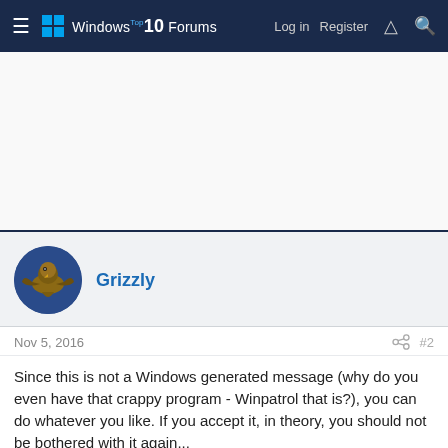Windows 10 Forums — Log in | Register
[Figure (other): Advertisement banner area (blank white space)]
Grizzly
Nov 5, 2016  #2
Since this is not a Windows generated message (why do you even have that crappy program - Winpatrol that is?), you can do whatever you like. If you accept it, in theory, you should not be bothered with it again...
BTW: Defender is always running in the background even though its not active...